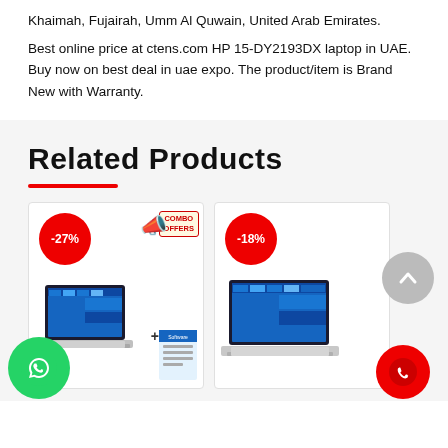Khaimah, Fujairah, Umm Al Quwain, United Arab Emirates.
Best online price at ctens.com HP 15-DY2193DX laptop in UAE. Buy now on best deal in uae expo. The product/item is Brand New with Warranty.
Related Products
[Figure (photo): Product card showing HP laptop with -27% discount badge and COMBO OFFERS tag, laptop shown with Microsoft software box]
[Figure (photo): Product card showing HP laptop with -18% discount badge]